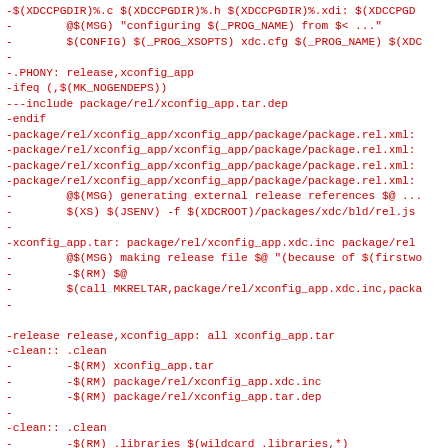-$(XDCCPGDIR)%.c $(XDCCPGDIR)%.h $(XDCCPGDIR)%.xdi: $(XDCCPGD
-        @$(MSG) "configuring $(_PROG_NAME) from $< ..."
-        $(CONFIG) $(_PROG_XSOPTS) xdc.cfg $(_PROG_NAME) $(XDC
-
-.PHONY: release,xconfig_app
-ifeq (,$(MK_NOGENDEPS))
---include package/rel/xconfig_app.tar.dep
-endif
-package/rel/xconfig_app/xconfig_app/package/package.rel.xml:
-package/rel/xconfig_app/xconfig_app/package/package.rel.xml:
-package/rel/xconfig_app/xconfig_app/package/package.rel.xml:
-package/rel/xconfig_app/xconfig_app/package/package.rel.xml:
-        @$(MSG) generating external release references $@ ...
-        $(XS) $(JSENV) -f $(XDCROOT)/packages/xdc/bld/rel.js
-
-xconfig_app.tar: package/rel/xconfig_app.xdc.inc package/rel
-        @$(MSG) making release file $@ "(because of $(firstwo
-        -$(RM) $@
-        $(call MKRELTAR,package/rel/xconfig_app.xdc.inc,packa
-
-
-release release,xconfig_app: all xconfig_app.tar
-clean:: .clean
-        -$(RM) xconfig_app.tar
-        -$(RM) package/rel/xconfig_app.xdc.inc
-        -$(RM) package/rel/xconfig_app.tar.dep
-
-clean:: .clean
-        -$(RM) .libraries $(wildcard .libraries,*)
-clean::
-        -$(RM) .dlls $(wildcard .dlls,*)
-#
# The following clean rule removes user specified